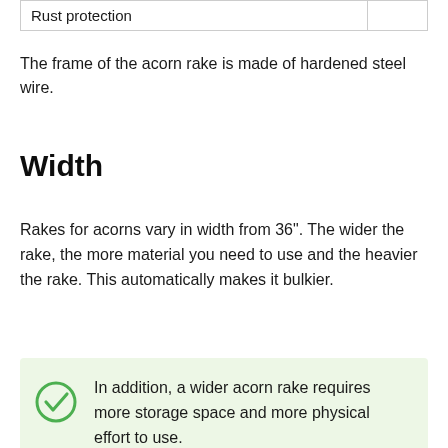| Rust protection |  |
The frame of the acorn rake is made of hardened steel wire.
Width
Rakes for acorns vary in width from 36". The wider the rake, the more material you need to use and the heavier the rake. This automatically makes it bulkier.
In addition, a wider acorn rake requires more storage space and more physical effort to use.